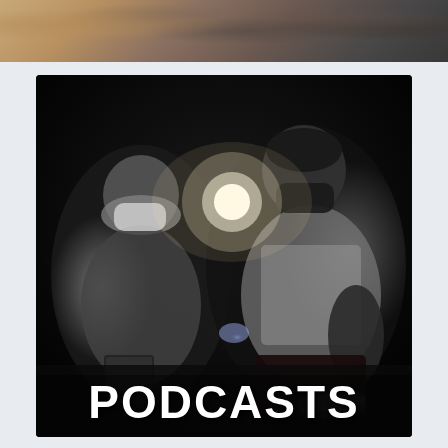[Figure (photo): Top strip photo showing people in a group setting, colorful, cropped at top of page]
[Figure (photo): Black and white photo of two people wearing face masks seated in a dark setting with a light flare. A woman on the left holds a book, a man on the right crouches holding a phone light. Bold white text 'PODCASTS' appears at the bottom of the image.]